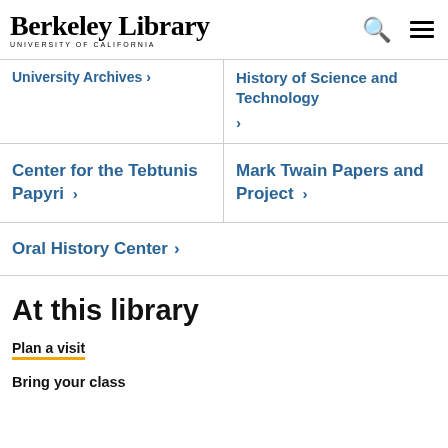Berkeley Library University of California
University Archives ›
History of Science and Technology ›
Center for the Tebtunis Papyri ›
Mark Twain Papers and Project ›
Oral History Center ›
At this library
Plan a visit
Bring your class